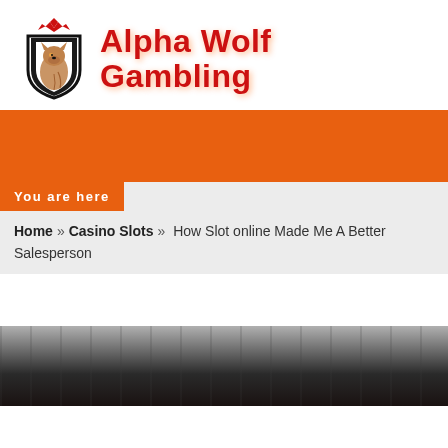[Figure (logo): Alpha Wolf Gambling logo: wolf in shield with red crown, beside bold red 'Alpha Wolf Gambling' text]
[Figure (other): Orange navigation bar]
You are here
Home » Casino Slots » How Slot online Made Me A Better Salesperson
[Figure (photo): Dark grayscale photo of casino/gambling scene at bottom of page]